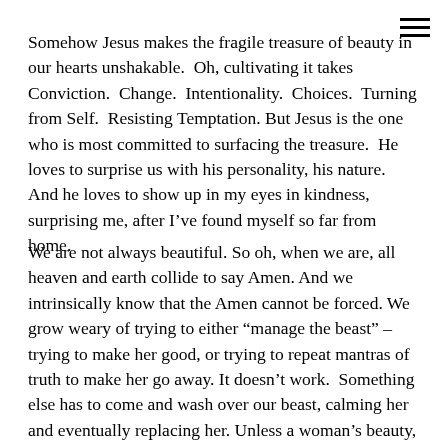[Figure (other): Hamburger menu icon (three horizontal lines) in the top-right corner]
Somehow Jesus makes the fragile treasure of beauty in our hearts unshakable.  Oh, cultivating it takes Conviction.  Change.  Intentionality.  Choices.  Turning from Self.  Resisting Temptation. But Jesus is the one who is most committed to surfacing the treasure.  He loves to surprise us with his personality, his nature.  And he loves to show up in my eyes in kindness, surprising me, after I've found myself so far from home.
We are not always beautiful. So oh, when we are, all heaven and earth collide to say Amen. And we intrinsically know that the Amen cannot be forced. We grow weary of trying to either “manage the beast” – trying to make her good, or trying to repeat mantras of truth to make her go away. It doesn’t work.  Something else has to come and wash over our beast, calming her and eventually replacing her. Unless a woman’s beauty, the very life of Christ within her, rises, then the beast will rise and cause her to feel like there is no beauty in her at all. The wonderful surprise is